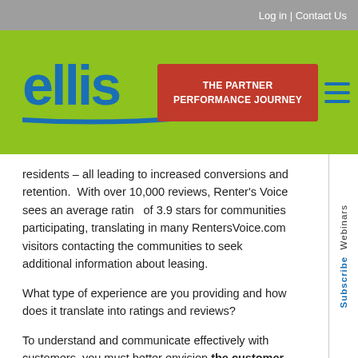Log in | Contact Us
[Figure (logo): Ellis logo in blue with green underline accent, on a lime green header bar. Includes a red button labeled 'THE PARTNER PERFORMANCE JOURNEY' and a blue hamburger menu icon.]
residents – all leading to increased conversions and retention. With over 10,000 reviews, Renter's Voice sees an average rating of 3.9 stars for communities participating, translating in many RentersVoice.com visitors contacting the communities to seek additional information about leasing.
What type of experience are you providing and how does it translate into ratings and reviews?
To understand and communicate effectively with customers, you must better envision the customer experience journey, see the purchase decision-making process and the landscape as they see it, and understand their perception. Tracking the customer journey – through an integrated program of mystery shops,